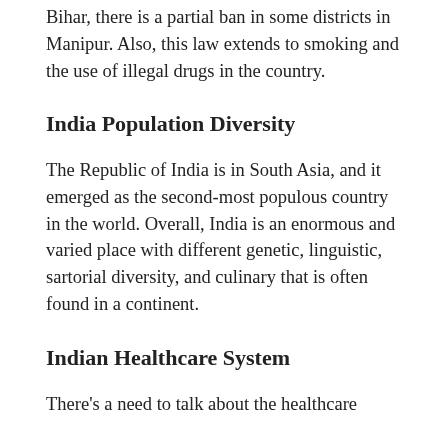Bihar, there is a partial ban in some districts in Manipur. Also, this law extends to smoking and the use of illegal drugs in the country.
India Population Diversity
The Republic of India is in South Asia, and it emerged as the second-most populous country in the world. Overall, India is an enormous and varied place with different genetic, linguistic, sartorial diversity, and culinary that is often found in a continent.
Indian Healthcare System
There’s a need to talk about the healthcare